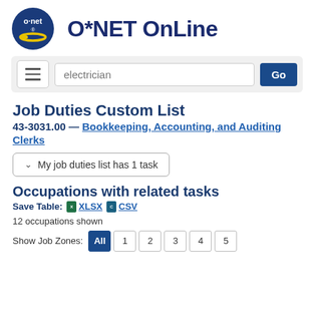[Figure (logo): O*NET OnLine logo with circular blue badge containing 'o·net' text and yellow swoosh, alongside large dark blue bold text 'O*NET OnLine']
[Figure (screenshot): Search bar with hamburger menu button on left, text input showing 'electrician', and blue 'Go' button on right]
Job Duties Custom List
43-3031.00 — Bookkeeping, Accounting, and Auditing Clerks
✓  My job duties list has 1 task
Occupations with related tasks
Save Table:  XLSX  CSV
12 occupations shown
Show Job Zones:  All  1  2  3  4  5